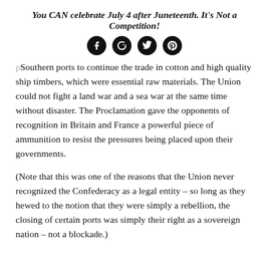You CAN celebrate July 4 after Juneteenth. It's Not a Competition!
[Figure (other): Four circular social media icons (Facebook, Google+, Twitter, Pinterest) in black circles]
Southern ports to continue the trade in cotton and high quality ship timbers, which were essential raw materials. The Union could not fight a land war and a sea war at the same time without disaster. The Proclamation gave the opponents of recognition in Britain and France a powerful piece of ammunition to resist the pressures being placed upon their governments.
(Note that this was one of the reasons that the Union never recognized the Confederacy as a legal entity – so long as they hewed to the notion that they were simply a rebellion, the closing of certain ports was simply their right as a sovereign nation – not a blockade.)